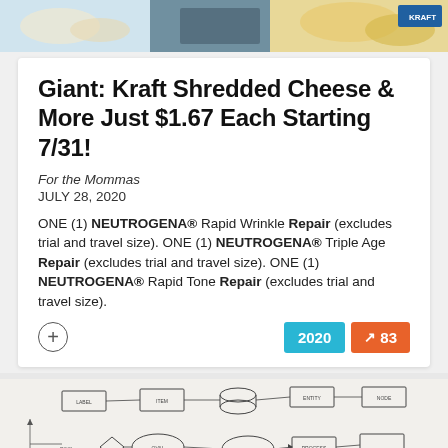[Figure (photo): Top banner image showing food products including shredded cheese and pasta on a light blue background]
Giant: Kraft Shredded Cheese & More Just $1.67 Each Starting 7/31!
For the Mommas
JULY 28, 2020
ONE (1) NEUTROGENA® Rapid Wrinkle Repair (excludes trial and travel size). ONE (1) NEUTROGENA® Triple Age Repair (excludes trial and travel size). ONE (1) NEUTROGENA® Rapid Tone Repair (excludes trial and travel size).
[Figure (photo): Person with dark hat looking at a whiteboard covered with a hand-drawn flowchart/diagram with boxes, circles and connecting lines]